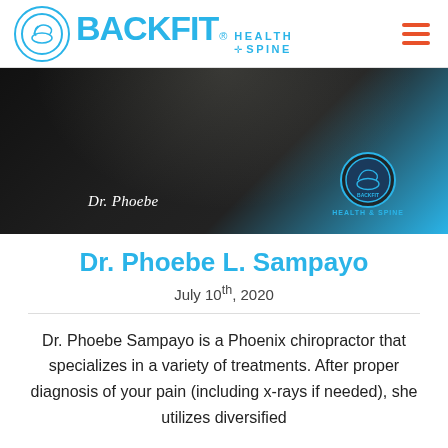BACKFIT HEALTH SPINE
[Figure (photo): Photo of Dr. Phoebe Sampayo wearing a dark BackFit Health & Spine uniform top, with 'Dr. Phoebe' embroidered on it. BackFit logo badge visible on shoulder. Blue background.]
Dr. Phoebe L. Sampayo
July 10th, 2020
Dr. Phoebe Sampayo is a Phoenix chiropractor that specializes in a variety of treatments. After proper diagnosis of your pain (including x-rays if needed), she utilizes diversified